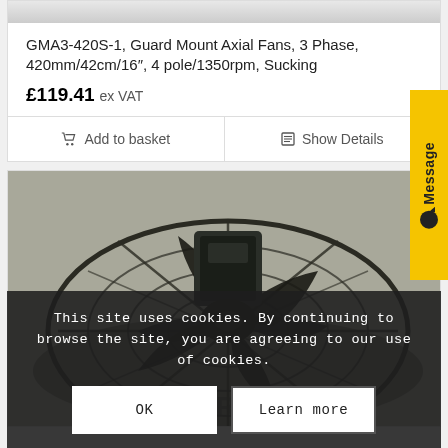GMA3-420S-1, Guard Mount Axial Fans, 3 Phase, 420mm/42cm/16″, 4 pole/1350rpm, Sucking
£119.41 ex VAT
Add to basket
Show Details
[Figure (photo): Guard Mount Axial Fan product photo showing fan blade and guard grill from above, dark/black finish, mounted on a square base with logo visible]
This site uses cookies. By continuing to browse the site, you are agreeing to our use of cookies.
OK   Learn more